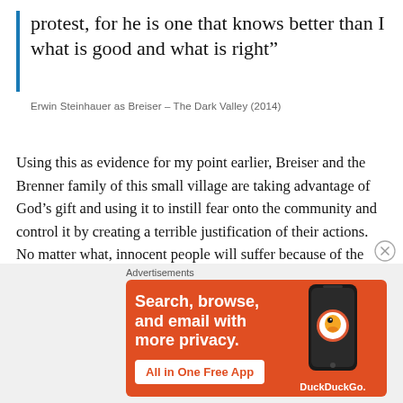protest, for he is one that knows better than I what is good and what is right”
Erwin Steinhauer as Breiser – The Dark Valley (2014)
Using this as evidence for my point earlier, Breiser and the Brenner family of this small village are taking advantage of God’s gift and using it to instill fear onto the community and control it by creating a terrible justification of their actions. No matter what, innocent people will suffer because of the gift of free will and will get caught in the crossfire from people who go against God’s prospects.
[Figure (infographic): DuckDuckGo advertisement banner: orange background with white bold text 'Search, browse, and email with more privacy.' and a white button 'All in One Free App', alongside a phone illustration showing the DuckDuckGo logo and app name.]